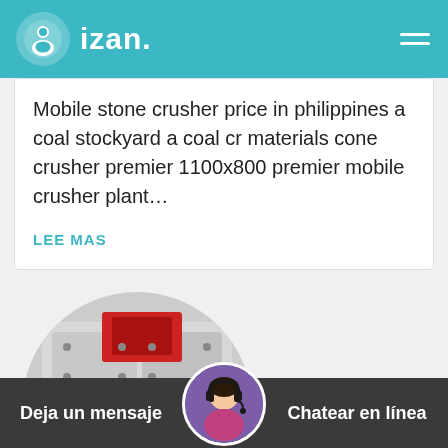izan.
Mobile stone crusher price in philippines a coal stockyard a coal cr materials cone crusher premier 1100x800 premier mobile crusher plant…
LEE MAS
[Figure (photo): Circular-cropped photo of a large industrial red and white stone crusher / impact crusher machine]
[Figure (photo): Circular avatar photo of a customer service representative woman wearing a headset]
Deja un mensaje   Chatear en línea